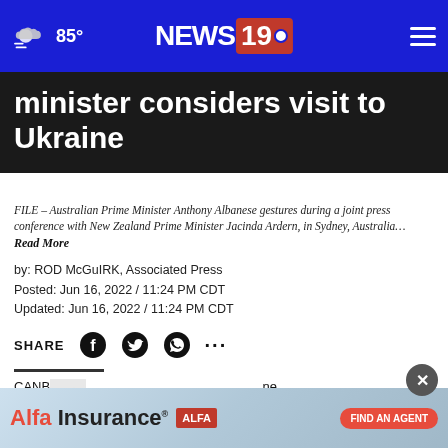85° NEWS 19
minister considers visit to Ukraine
FILE – Australian Prime Minister Anthony Albanese gestures during a joint press conference with New Zealand Prime Minister Jacinda Ardern, in Sydney, Australia… Read More
by: ROD McGuIRK, Associated Press
Posted: Jun 16, 2022 / 11:24 PM CDT
Updated: Jun 16, 2022 / 11:24 PM CDT
SHARE
CANB... Australian Prime Minister Anthony Albanese said on Friday he would